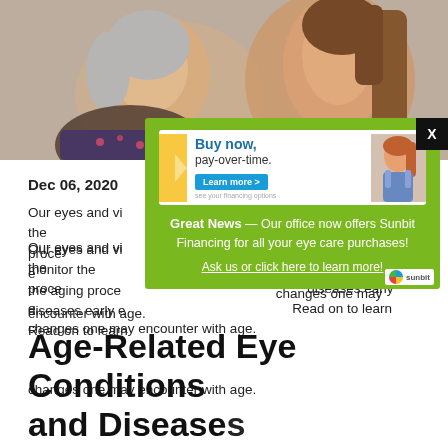[Figure (photo): Photo of two women — an older woman and a younger woman — looking upward, photographed in profile/side view]
Dec 06, 2020
Our eyes and vision change as we age. It is important to monitor these changes, as some changes are merely due to the aging process while others may indicate serious eye diseases early enough to prevent more serious vision loss. Read on to learn more about the common age-related eye changes one may encounter with age.
[Figure (infographic): Sunbit advertisement popup with 'Buy now, pay-over-time.' heading and 'Learn more' button, overlaid on green background with text: Great News — Our office now offers Sunbit Financing for all your eye care purchases! Ask us or click here to learn more!]
Age-Related Eye Conditions and Diseases